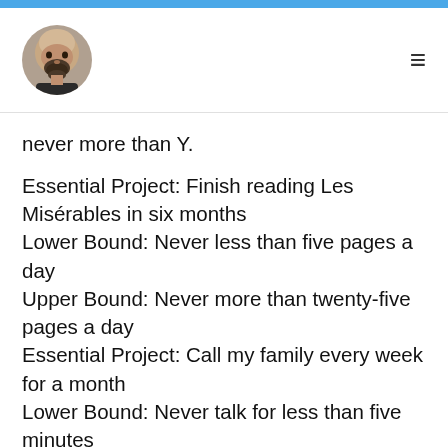[Figure (illustration): Circular avatar photo of a bald man with a beard, wearing a dark shirt, used as a website navigation logo.]
never more than Y.
Essential Project: Finish reading Les Misérables in six months
Lower Bound: Never less than five pages a day
Upper Bound: Never more than twenty-five pages a day
Essential Project: Call my family every week for a month
Lower Bound: Never talk for less than five minutes
Upper Bound: Never talk for more than an